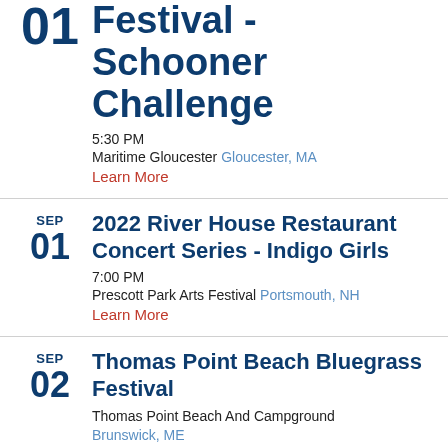01 Festival - Schooner Challenge
5:30 PM
Maritime Gloucester Gloucester, MA
Learn More
SEP 01 2022 River House Restaurant Concert Series - Indigo Girls
7:00 PM
Prescott Park Arts Festival Portsmouth, NH
Learn More
SEP 02 Thomas Point Beach Bluegrass Festival
Thomas Point Beach And Campground
Brunswick, ME